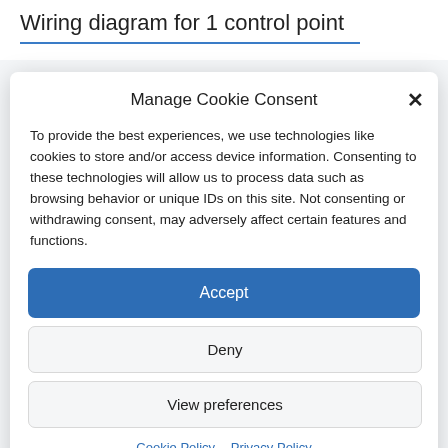Wiring diagram for 1 control point
Manage Cookie Consent
To provide the best experiences, we use technologies like cookies to store and/or access device information. Consenting to these technologies will allow us to process data such as browsing behavior or unique IDs on this site. Not consenting or withdrawing consent, may adversely affect certain features and functions.
Accept
Deny
View preferences
Cookie Policy  Privacy Policy